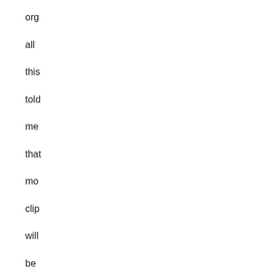org
all
this
told
me
that
mo
clip
will
be
for
and
if I
see
the
I'll
pos
'em
bac
her
Ny
Ny